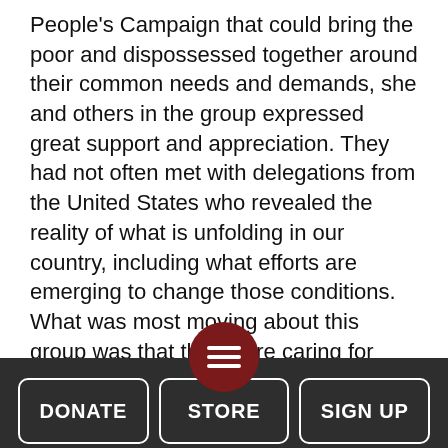People's Campaign that could bring the poor and dispossessed together around their common needs and demands, she and others in the group expressed great support and appreciation. They had not often met with delegations from the United States who revealed the reality of what is unfolding in our country, including what efforts are emerging to change those conditions.
What was most moving about this group was that they were caring for children as well as seniors, providing for their recreational, social and emotional needs. And this work of theirs was understood as part of the ongoing project of social transformation. That is, while Cuba has achieved a 99 pe… literacy rate and
[Figure (other): Dark grey footer bar with a circular dark red hamburger menu button centered at the top edge, and three navigation buttons labeled DONATE, STORE, and SIGN UP.]